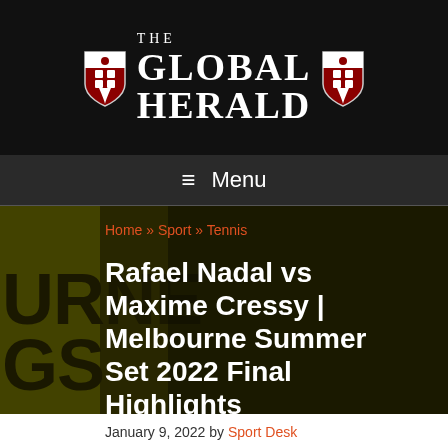THE GLOBAL HERALD
≡ Menu
[Figure (screenshot): Hero background image showing a tennis player with yellow-green Melbourne Summer Set backdrop and large dark text]
Home » Sport » Tennis
Rafael Nadal vs Maxime Cressy | Melbourne Summer Set 2022 Final Highlights
January 9, 2022 by Sport Desk